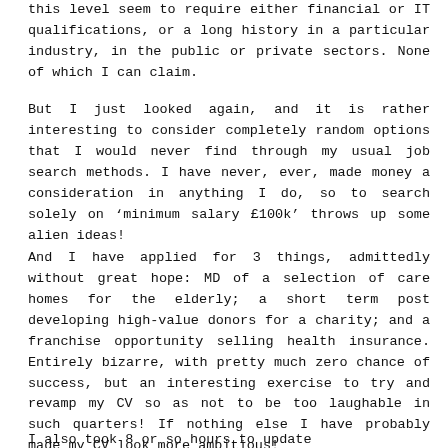this level seem to require either financial or IT qualifications, or a long history in a particular industry, in the public or private sectors. None of which I can claim.
But I just looked again, and it is rather interesting to consider completely random options that I would never find through my usual job search methods. I have never, ever, made money a consideration in anything I do, so to search solely on ‘minimum salary £100k’ throws up some alien ideas!
And I have applied for 3 things, admittedly without great hope: MD of a selection of care homes for the elderly; a short term post developing high-value donors for a charity; and a franchise opportunity selling health insurance. Entirely bizarre, with pretty much zero chance of success, but an interesting exercise to try and revamp my CV so as not to be too laughable in such quarters! If nothing else I have probably made my CV look more ambitious!
I also took 8 or so hours to update